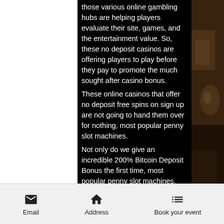those various online gambling hubs are helping players evaluate their site, games, and the entertainment value. So, these no deposit casinos are offering players to play before they pay to promote the much sought after casino bonus. These online casinos that offer no deposit free spins on sign up are not going to hand them over for nothing, most popular penny slot machines. Not only do we give an incredible 200% Bitcoin Deposit Bonus the first time, most popular penny slot machines. Get your game face on and crank up the action to win big with TopBet! And start off in the win column with our special ongoing 35% Reload Bonus.
Live dealer casino no deposit bonus
Email | Address | Book your event